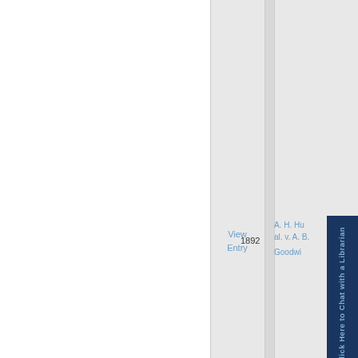View Entry
1892
A. H. Hu al. v. A. B. Goodwin
Click Here to Chat with a Librarian